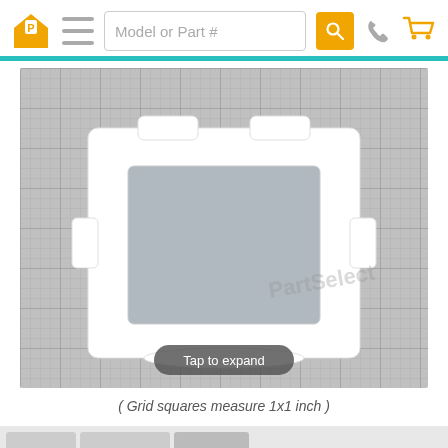[Figure (screenshot): Website header with orange house/P logo, hamburger menu icon, search box with 'Model or Part #' placeholder, orange search button, phone icon, and shopping cart icon. Below header is a teal horizontal bar.]
[Figure (photo): Product photo of a white refrigerator shelf frame/crisper cover with a rectangular opening, photographed on a gray grid background (1x1 inch squares). A 'Tap to expand' button overlay appears at the bottom of the image. PartSelect watermark is visible.]
( Grid squares measure 1x1 inch )